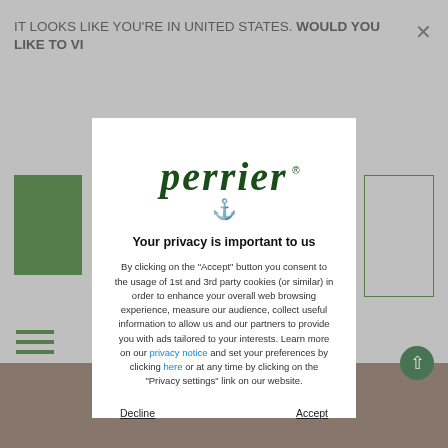IT LOOKS LIKE YOU'RE IN UNITED STATES. WOULD YOU LIKE TO VI
[Figure (logo): Perrier brand logo in dark green italic serif font with anchor symbol below]
Your privacy is important to us
By clicking on the "Accept" button you consent to the usage of 1st and 3rd party cookies (or similar) in order to enhance your overall web browsing experience, measure our audience, collect useful information to allow us and our partners to provide you with ads tailored to your interests. Learn more on our privacy notice and set your preferences by clicking here or at any time by clicking on the "Privacy settings" link on our website.
Decline
Accept